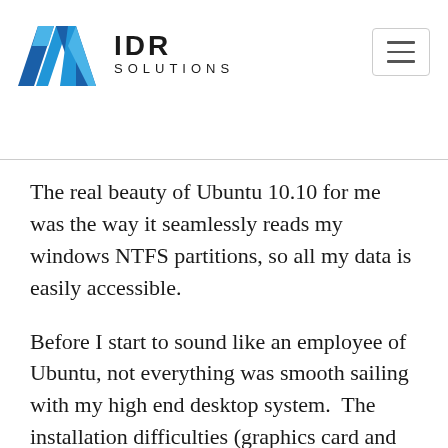IDR Solutions
The real beauty of Ubuntu 10.10 for me was the way it seamlessly reads my windows NTFS partitions, so all my data is easily accessible.
Before I start to sound like an employee of Ubuntu, not everything was smooth sailing with my high end desktop system.  The installation difficulties (graphics card and wireless printers) I struck were reasonably easy to overcome after a search of the Ubuntu forums. But this is where things start to unravel a little bit. The problem with Linux is that there are as many different